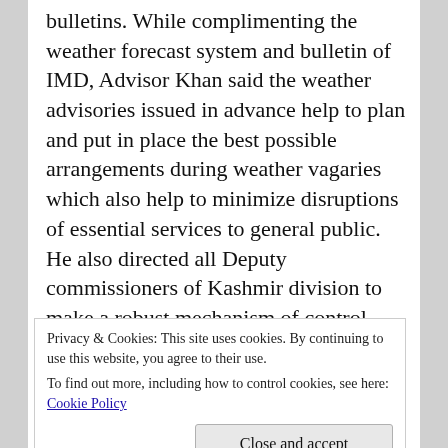bulletins. While complimenting the weather forecast system and bulletin of IMD, Advisor Khan said the weather advisories issued in advance help to plan and put in place the best possible arrangements during weather vagaries which also help to minimize disruptions of essential services to general public.
He also directed all Deputy commissioners of Kashmir division to make a robust mechanism of control room so that people's issues would be responded within the shortest possible time.
While reviewing power Development Department preparedness, the Advisor set specific timelines for replacement of transformers in urban, rural, and far-flung
Privacy & Cookies: This site uses cookies. By continuing to use this website, you agree to their use.
To find out more, including how to control cookies, see here: Cookie Policy
Close and accept
He also enquired about the buffer stock of transformers